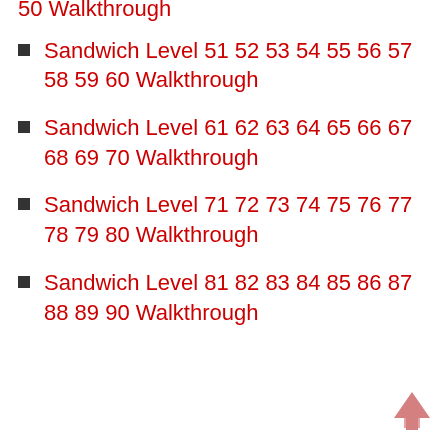50 Walkthrough (partial, top of page)
Sandwich Level 51 52 53 54 55 56 57 58 59 60 Walkthrough
Sandwich Level 61 62 63 64 65 66 67 68 69 70 Walkthrough
Sandwich Level 71 72 73 74 75 76 77 78 79 80 Walkthrough
Sandwich Level 81 82 83 84 85 86 87 88 89 90 Walkthrough